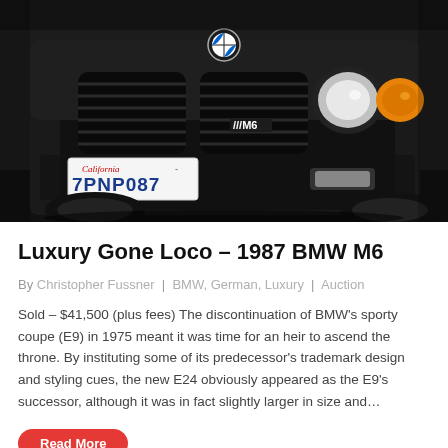[Figure (photo): Front close-up of a black 1987 BMW M6 with California license plate 7PNP087, showing the BMW kidney grille, M6 badge, round headlights, and orange turn signal.]
Luxury Gone Loco – 1987 BMW M6
By Christopher Fussner  |  BMW, German, Luxury  |  Auction
Sold – $41,500 (plus fees) The discontinuation of BMW's sporty coupe (E9) in 1975 meant it was time for an heir to ascend the throne. By instituting some of its predecessor's trademark design and styling cues, the new E24 obviously appeared as the E9's successor, although it was in fact slightly larger in size and…